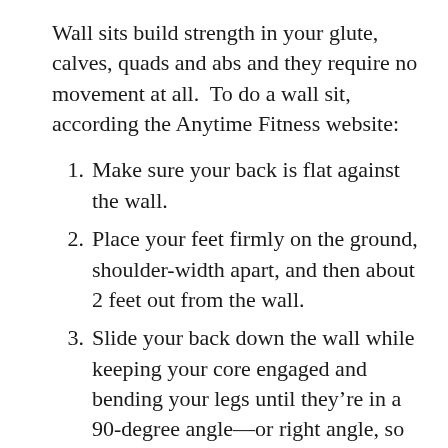Wall sits build strength in your glute, calves, quads and abs and they require no movement at all.  To do a wall sit, according the Anytime Fitness website:
Make sure your back is flat against the wall.
Place your feet firmly on the ground, shoulder-width apart, and then about 2 feet out from the wall.
Slide your back down the wall while keeping your core engaged and bending your legs until they’re in a 90-degree angle—or right angle, so that if someone wanted to sit on your lap, they could. (Although now probably